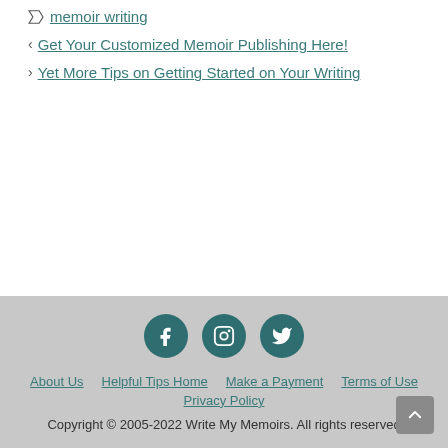memoir writing
< Get Your Customized Memoir Publishing Here!
> Yet More Tips on Getting Started on Your Writing
[Figure (infographic): Social media icons: Facebook, Instagram, Twitter in teal circles]
About Us  Helpful Tips Home  Make a Payment  Terms of Use  Privacy Policy
Copyright © 2005-2022 Write My Memoirs. All rights reserved